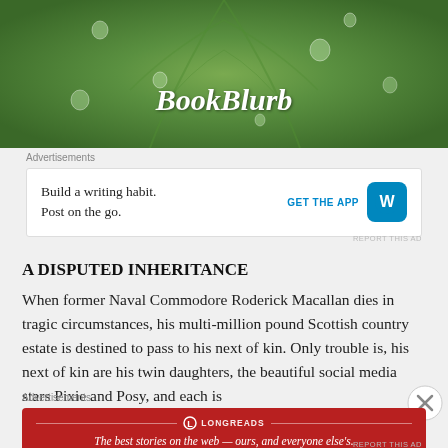[Figure (photo): Green leaf with water droplets, close-up macro photo used as header image for BookBlurb]
BookBlurb
Advertisements
[Figure (screenshot): Advertisement: Build a writing habit. Post on the go. GET THE APP [WordPress logo]]
REPORT THIS AD
A DISPUTED INHERITANCE
When former Naval Commodore Roderick Macallan dies in tragic circumstances, his multi-million pound Scottish country estate is destined to pass to his next of kin. Only trouble is, his next of kin are his twin daughters, the beautiful social media stars Pixie and Posy, and each is
Advertisements
[Figure (screenshot): Longreads advertisement: The best stories on the web — ours, and everyone else's.]
REPORT THIS AD